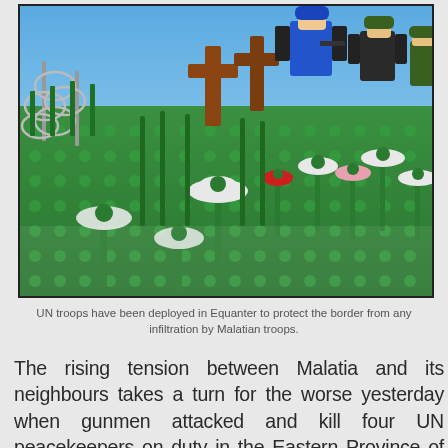[Figure (photo): A LEGO scene depicting UN peacekeepers (figures in blue vests) standing among green LEGO baseplate fields with white and red LEGO flowers, a brown cross/grave marker, and barbed wire fencing on the left. The background shows a blue sky.]
UN troops have been deployed in Equanter to protect the border from any infiltration by Malatian troops.
The rising tension between Malatia and its neighbours takes a turn for the worse yesterday when gunmen attacked and kill four UN peacekeepers on duty in the Eastern Province of Equanter.